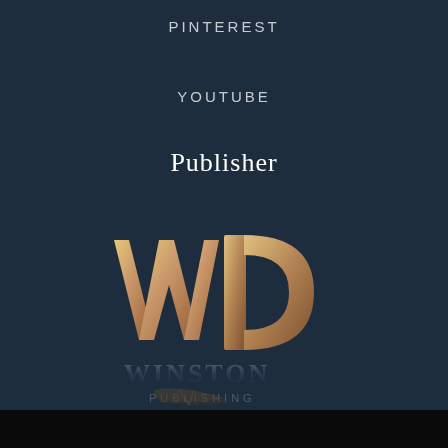PINTEREST
YOUTUBE
Publisher
[Figure (logo): Winston Publishing logo — large stylized gold/bronze 'WP' monogram letters above the text 'WINSTON' in metallic dark blue serif letters, with 'PUBLISHING' beneath in smaller spaced capitals, and a decorative feather quill graphic at the base]